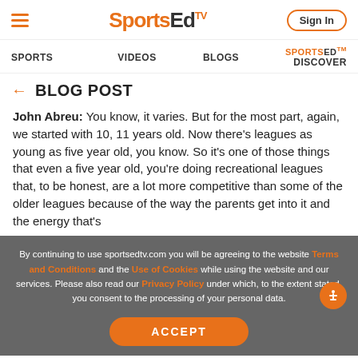SportsEdTV — Sign In
SPORTS  VIDEOS  BLOGS  SportsEd™ DISCOVER
← BLOG POST
John Abreu: You know, it varies. But for the most part, again, we started with 10, 11 years old. Now there's leagues as young as five year old, you know. So it's one of those things that even a five year old, you're doing recreational leagues that, to be honest, are a lot more competitive than some of the older leagues because of the way the parents get into it and the energy that's
By continuing to use sportsedtv.com you will be agreeing to the website Terms and Conditions and the Use of Cookies while using the website and our services. Please also read our Privacy Policy under which, to the extent stated, you consent to the processing of your personal data.
ACCEPT